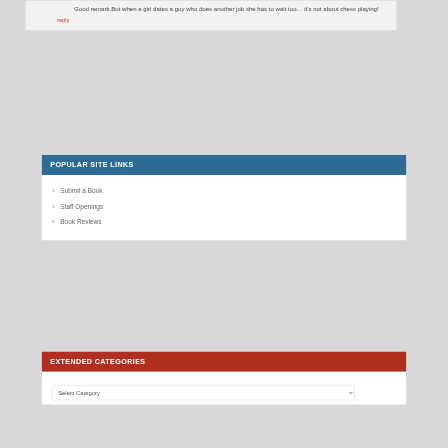Good remark.But when a girl dates a guy who does another job she has to wait too… it's not about chess playing!
reply
POPULAR SITE LINKS
Submit a Book
Staff Openings
Book Reviews
EXTENDED CATEGORIES
Select Category